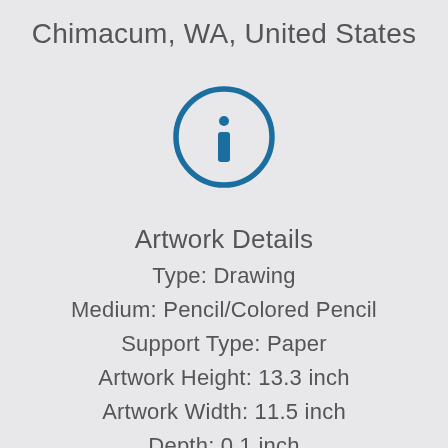Chimacum, WA, United States
[Figure (illustration): Information icon: a circle with the letter i inside, drawn in teal/blue outline style]
Artwork Details
Type: Drawing
Medium: Pencil/Colored Pencil
Support Type: Paper
Artwork Height: 13.3 inch
Artwork Width: 11.5 inch
Depth: 0.1 inch